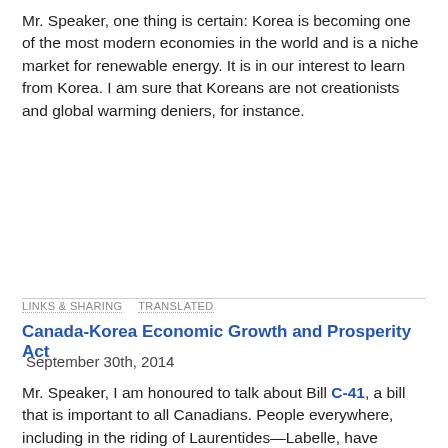Mr. Speaker, one thing is certain: Korea is becoming one of the most modern economies in the world and is a niche market for renewable energy. It is in our interest to learn from Korea. I am sure that Koreans are not creationists and global warming deniers, for instance.
LINKS & SHARING    TRANSLATED
Canada-Korea Economic Growth and Prosperity Act
September 30th, 2014
Mr. Speaker, I am honoured to talk about Bill C-41, a bill that is important to all Canadians. People everywhere, including in the riding of Laurentides—Labelle, have concerns every time there is a new free trade agreement. They automatically worry about it because they have seen the government sign agreements with dictatorships and drug lords, and they have seen all kinds of agreements that do not work. Of course they are wondering why, this time around, we are supporting a trade agreement. However, it should not be that surprising because we always